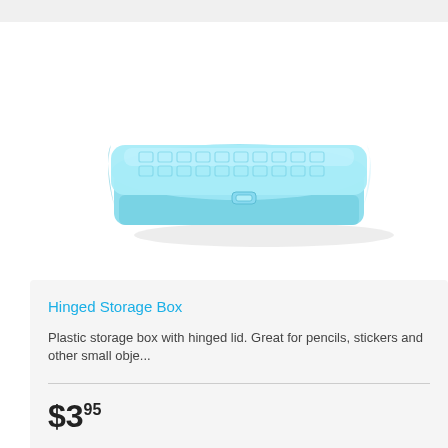[Figure (photo): A light blue translucent plastic hinged storage box with embossed square pattern on the lid and a latch closure, photographed on white background]
Hinged Storage Box
Plastic storage box with hinged lid. Great for pencils, stickers and other small obje...
$3.95